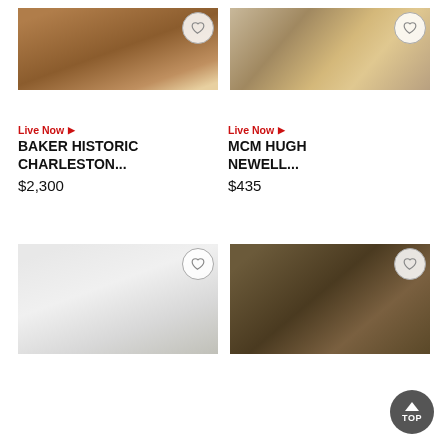[Figure (photo): Baker Historic Charleston dining table - long dark wood table with pedestal legs]
[Figure (photo): MCM Hugh Newell table - acrylic/glass table on patterned rug]
Live Now ▶
BAKER HISTORIC CHARLESTON...
$2,300
Live Now ▶
MCM HUGH NEWELL...
$435
[Figure (photo): Round white marble top coffee table on pedestal base]
[Figure (photo): Round dark oval coffee table with decorative legs]